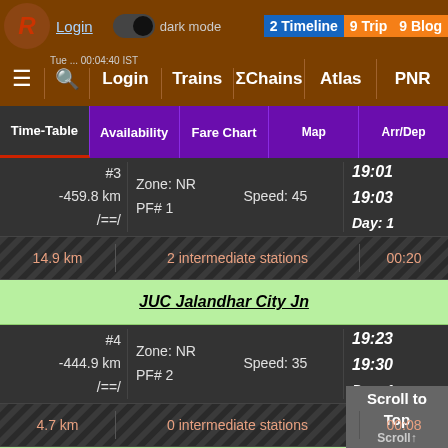Login | dark mode | 2 Timeline 9 Trip 9 Blog
≡ 🔍 Login | Trains | ΣChains | Atlas | PNR
| Time-Table | Availability | Fare Chart | Map | Arr/Dep |
| --- | --- | --- | --- | --- |
| Stop/km | Zone/PF/Speed | Time/Day |
| --- | --- | --- |
| #3
-459.8 km
/==/ | Zone: NR
PF# 1 | Speed: 45 | 19:01
19:03
Day: 1 |
| 14.9 km | 2 intermediate stations |  | 00:20 |
| JUC Jalandhar City Jn |  |  |  |
| #4
-444.9 km
/==/ | Zone: NR
PF# 2 | Speed: 35 | 19:23
19:30
Day: 1 |
| 4.7 km | 0 intermediate stations |  | 00:08 |
| JRC Jalandhar Cantt Jn |  |  |  |
| #5
-440.2 km
/==/ | Zone: NR
PF# 2 | Speed: 76
Elev: 239m | 1…
1…
D… |